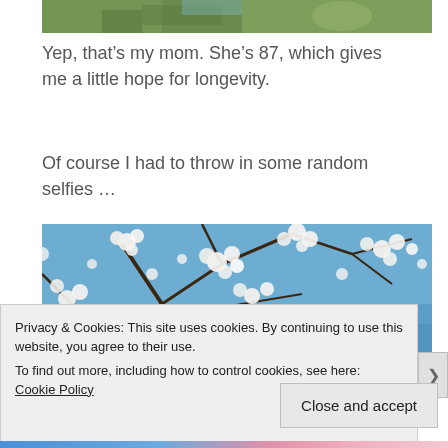[Figure (photo): Top portion of outdoor photo showing green foliage/grass, partially cropped]
Yep, that’s my mom. She’s 87, which gives me a little hope for longevity.
Of course I had to throw in some random selfies…
[Figure (photo): Photo looking up through white blossoming tree branches against a blue sky, with a person partially visible below]
Privacy & Cookies: This site uses cookies. By continuing to use this website, you agree to their use.
To find out more, including how to control cookies, see here: Cookie Policy
Close and accept